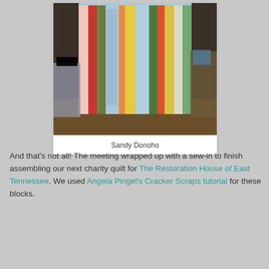[Figure (photo): A colorful strip quilt being held up, showing vertical strips of various patterned fabrics in blue, green, yellow, red, orange, and white tones.]
Sandy Donoho
And that's not all! The meeting wrapped up with a sew-in to finish assembling our next charity quilt for The Restoration House of East Tennessee. We used Angela Pingel's Cracker Scraps tutorial for these blocks.